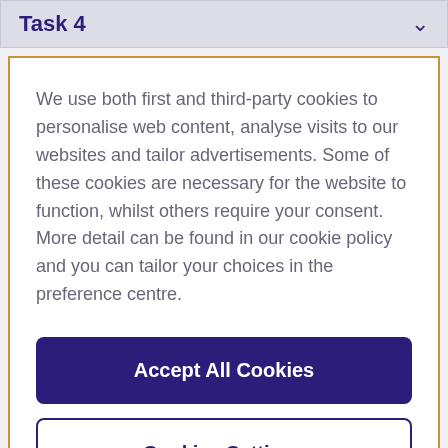Task 4
We use both first and third-party cookies to personalise web content, analyse visits to our websites and tailor advertisements. Some of these cookies are necessary for the website to function, whilst others require your consent. More detail can be found in our cookie policy and you can tailor your choices in the preference centre.
Accept All Cookies
Cookies Settings